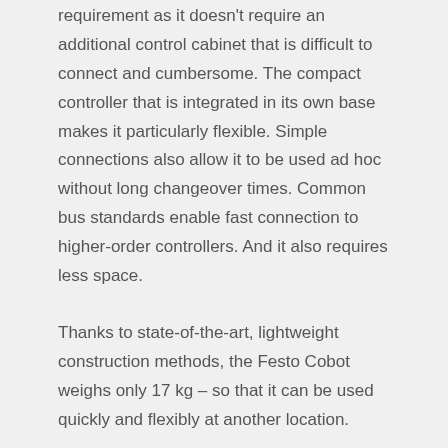requirement as it doesn't require an additional control cabinet that is difficult to connect and cumbersome. The compact controller that is integrated in its own base makes it particularly flexible. Simple connections also allow it to be used ad hoc without long changeover times. Common bus standards enable fast connection to higher-order controllers. And it also requires less space.
Thanks to state-of-the-art, lightweight construction methods, the Festo Cobot weighs only 17 kg – so that it can be used quickly and flexibly at another location.
Working safer and faster
With a length of 670 mm, the Festo Cobot is just like a human arm and has the right reach for it to be perceived